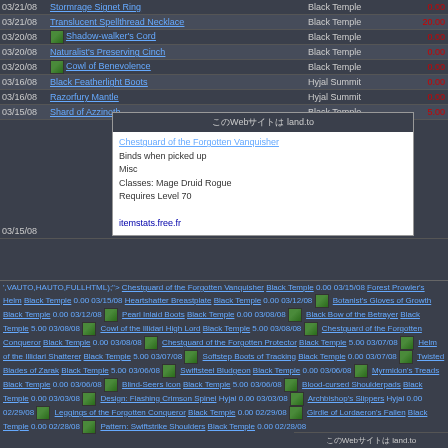| Date | Item | Zone | Price |
| --- | --- | --- | --- |
| 03/21/08 | Stormrage Signet Ring | Black Temple | 0.00 |
| 03/21/08 | Translucent Spellthread Necklace | Black Temple | 20.00 |
| 03/20/08 | Shadow-walker's Cord | Black Temple | 0.00 |
| 03/20/08 | Naturalist's Preserving Cinch | Black Temple | 0.00 |
| 03/20/08 | Cowl of Benevolence | Black Temple | 0.00 |
| 03/16/08 | Black Featherlight Boots | Hyjal Summit | 0.00 |
| 03/16/08 | Razorfury Mantle | Hyjal Summit | 0.00 |
| 03/15/08 | Shard of Azzinoth | Black Temple | 5.00 |
| 03/15/08 | Chestguard of the Forgotten Vanquisher | Black Temple | 0.00 |
',VAUTO,HAUTO,FULLHTML);" onmouseout="return nd();"> Chestguard of the Forgotten Vanquisher Black Temple 0.00 03/15/08 Forest Prowler's Helm Black Temple 0.00 03/15/08 Heartshatter Breastplate Black Temple 0.00 03/12/08 Botanist's Gloves of Growth Black Temple 0.00 03/12/08 Pearl Inlaid Boots Black Temple 0.00 03/08/08 Black Bow of the Betrayer Black Temple 5.00 03/08/08 Cowl of the Illidari High Lord Black Temple 5.00 03/08/08 Chestguard of the Forgotten Conqueror Black Temple 0.00 03/08/08 Chestguard of the Forgotten Protector Black Temple 5.00 03/07/08 Helm of the Illidari Shatterer Black Temple 5.00 03/07/08 Softstep Boots of Tracking Black Temple 0.00 03/07/08 Twisted Blades of Zarak Black Temple 5.00 03/06/08 Swiftsteel Bludgeon Black Temple 0.00 03/06/08 Myrmidon's Treads Black Temple 0.00 03/06/08 Blind-Seers Icon Black Temple 5.00 03/06/08 Blood-cursed Shoulderpads Black Temple 0.00 03/03/08 Design: Flashing Crimson Spinel Hyjal 0.00 03/03/08 Archbishop's Slippers Hyjal 0.00 02/29/08 Leggings of the Forgotten Conqueror Black Temple 0.00 02/29/08 Girdle of Lordaeron's Fallen Black Temple 0.00 02/28/08 Pattern: Swiftstrike Shoulders Black Temple 0.00 02/28/08